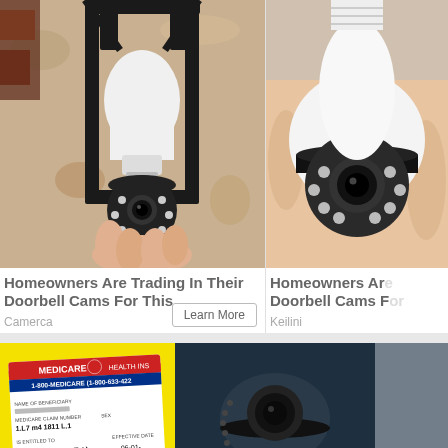[Figure (photo): Security camera shaped like a light bulb installed in an outdoor wall lantern fixture, being held by a hand]
[Figure (photo): A hand holding a white dome security camera that looks like a light bulb]
Homeowners Are Trading In Their Doorbell Cams For This
Camerca
Learn More
Homeowners Are Trading In Their Doorbell Cams For This
Keilini
[Figure (photo): Medicare health insurance card on yellow background showing 1-800-MEDICARE (1-800-633-422), with name of beneficiary, medicare claim number blurred, and hospital/medical enrollment dates 06-01-]
[Figure (photo): Dark background with dome security camera and text CAMP LEJEUNE LEGAL]
[Figure (photo): Partially visible third ad image on the right edge]